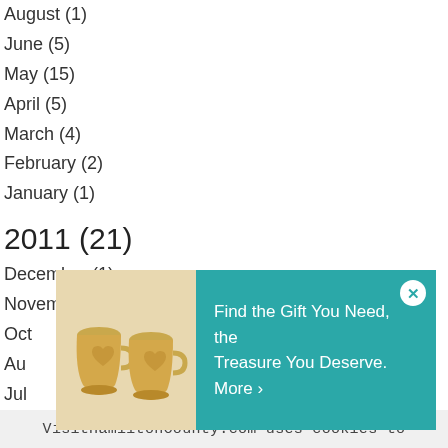August (1)
June (5)
May (15)
April (5)
March (4)
February (2)
January (1)
2011 (21)
December (1)
November (7)
October
August
July
June (4)
May (1)
January (1)
2010 (1)
[Figure (infographic): Advertisement banner with two ceramic mugs on beige background and teal panel reading 'Find the Gift You Need, the Treasure You Deserve. More ›' with a close button.]
VisitHamiltonCounty.com uses cookies to